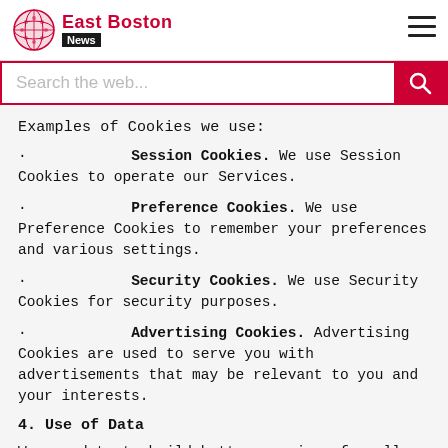East Boston News
Examples of Cookies we use:
Session Cookies. We use Session Cookies to operate our Services.
Preference Cookies. We use Preference Cookies to remember your preferences and various settings.
Security Cookies. We use Security Cookies for security purposes.
Advertising Cookies. Advertising Cookies are used to serve you with advertisements that may be relevant to you and your interests.
4. Use of Data
We use data to build better services for all our users. These include but are not limited to: